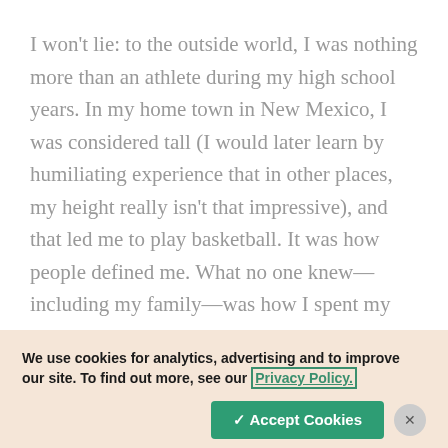I won't lie: to the outside world, I was nothing more than an athlete during my high school years. In my home town in New Mexico, I was considered tall (I would later learn by humiliating experience that in other places, my height really isn't that impressive), and that led me to play basketball. It was how people defined me. What no one knew—including my family—was how I spent my evenings. By my junior year, I had realized our
We use cookies for analytics, advertising and to improve our site. To find out more, see our Privacy Policy.